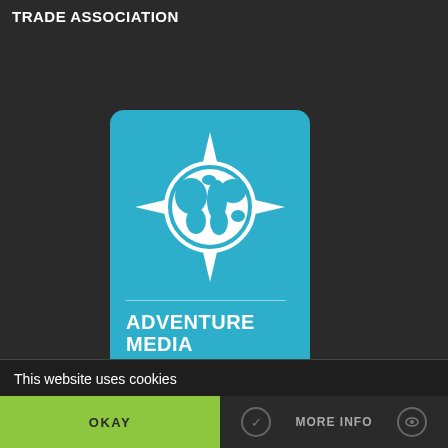TRADE ASSOCIATION
[Figure (logo): Adventure Media logo card: teal/blue card with compass-globe icon, text 'ADVENTURE MEDIA' in bold white and 'ADVENTURE TRAVEL TRADE ASSOCIATION' below, on dark background]
This website uses cookies
OKAY
MORE INFO